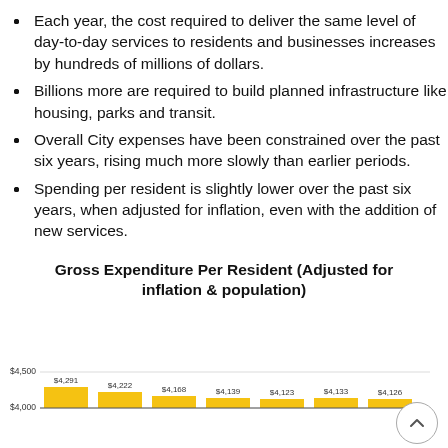Each year, the cost required to deliver the same level of day-to-day services to residents and businesses increases by hundreds of millions of dollars.
Billions more are required to build planned infrastructure like housing, parks and transit.
Overall City expenses have been constrained over the past six years, rising much more slowly than earlier periods.
Spending per resident is slightly lower over the past six years, when adjusted for inflation, even with the addition of new services.
Gross Expenditure Per Resident (Adjusted for inflation & population)
[Figure (bar-chart): Gross Expenditure Per Resident (Adjusted for inflation & population)]